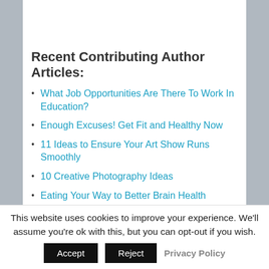Recent Contributing Author Articles:
What Job Opportunities Are There To Work In Education?
Enough Excuses! Get Fit and Healthy Now
11 Ideas to Ensure Your Art Show Runs Smoothly
10 Creative Photography Ideas
Eating Your Way to Better Brain Health
[Figure (infographic): Share and enjoy! text with cursive font in red, followed by a row of social media icon circles (Twitter blue, Facebook blue, Pinterest red, LinkedIn blue, Email grey, Google+ green) with a decorative curved arrow]
This website uses cookies to improve your experience. We'll assume you're ok with this, but you can opt-out if you wish.
Accept   Reject   Privacy Policy